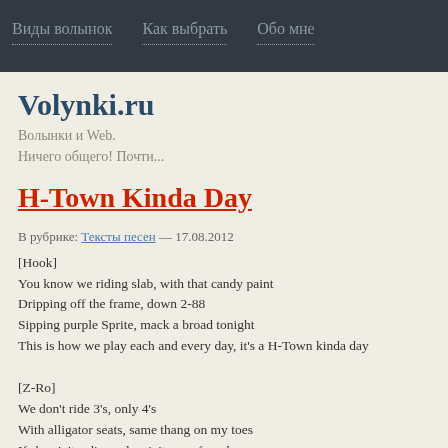Виды волынок   Как выбрать   Обо мне
Volynki.ru
Волынки и Web.
Ничего общего! Почти...
H-Town Kinda Day
В рубрике: Тексты песен — 17.08.2012
[Hook]
You know we riding slab, with that candy paint
Dripping off the frame, down 2-88
Sipping purple Sprite, mack a broad tonight
This is how we play each and every day, it's a H-Town kinda day

[Z-Ro]
We don't ride 3's, only 4's
With alligator seats, same thang on my toes
If she ain't a dime, she ain't one of my hoes